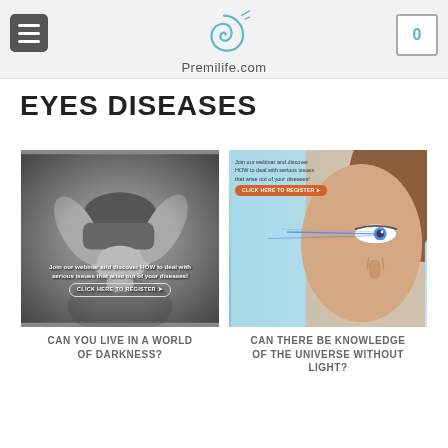Premilife.com
EYES DISEASES
[Figure (photo): Black and white photo of a woman covering her eyes with her hands, with webinar text overlay and register button]
CAN YOU LIVE IN A WORLD OF DARKNESS?
[Figure (photo): Color photo of a woman touching her eye with blue light beams, with webinar text overlay and register button]
CAN THERE BE KNOWLEDGE OF THE UNIVERSE WITHOUT LIGHT?